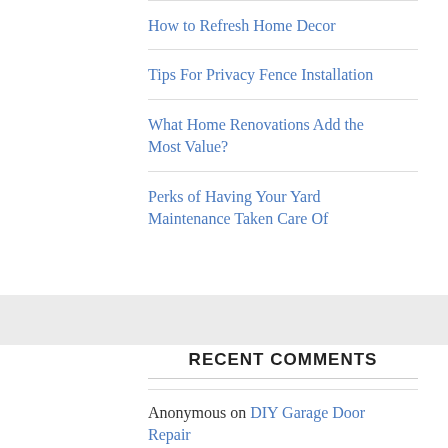How to Refresh Home Decor
Tips For Privacy Fence Installation
What Home Renovations Add the Most Value?
Perks of Having Your Yard Maintenance Taken Care Of
RECENT COMMENTS
Anonymous on DIY Garage Door Repair
Anonymous on DIY Garage Door Repair
Anonymous on DIY Garage Door